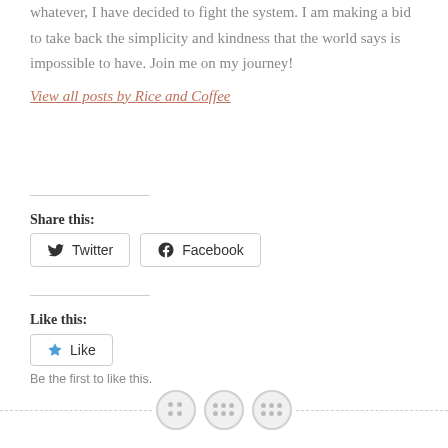whatever, I have decided to fight the system. I am making a bid to take back the simplicity and kindness that the world says is impossible to have. Join me on my journey!
View all posts by Rice and Coffee
Share this:
Twitter  Facebook
Like this:
Like
Be the first to like this.